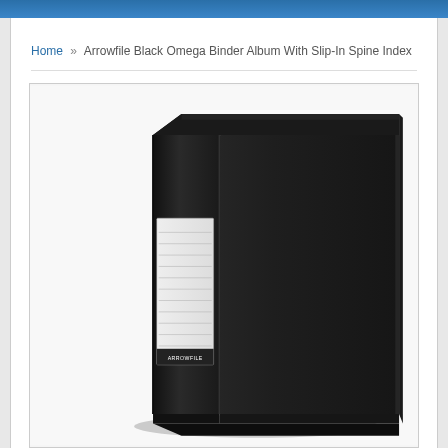Home » Arrowfile Black Omega Binder Album With Slip-In Spine Index
[Figure (photo): A black Arrowfile Omega binder album photographed at an angle, showing the front cover and spine. The spine features a white slip-in index label area with horizontal lines for writing. The binder is photographed against a white background.]